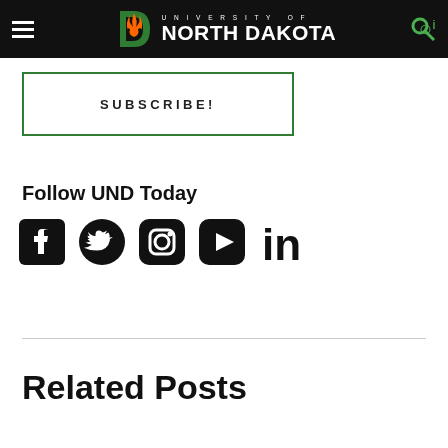University of North Dakota
SUBSCRIBE!
Follow UND Today
[Figure (other): Social media icons: Facebook, Twitter, Instagram, YouTube, LinkedIn]
Related Posts